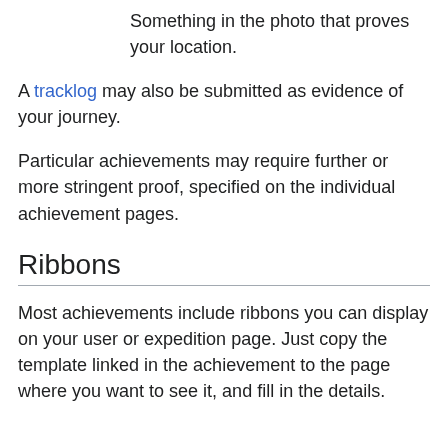Something in the photo that proves your location.
A tracklog may also be submitted as evidence of your journey.
Particular achievements may require further or more stringent proof, specified on the individual achievement pages.
Ribbons
Most achievements include ribbons you can display on your user or expedition page. Just copy the template linked in the achievement to the page where you want to see it, and fill in the details.